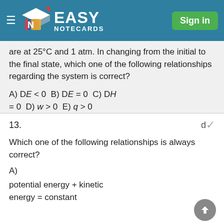Easy Notecards — Sign in
are at 25°C and 1 atm. In changing from the initial to the final state, which one of the following relationships regarding the system is correct?
A) DE < 0 B) DE = 0 C) DH = 0 D) w > 0 E) q > 0
13.   d
Which one of the following relationships is always correct?
A)
potential energy + kinetic energy = constant